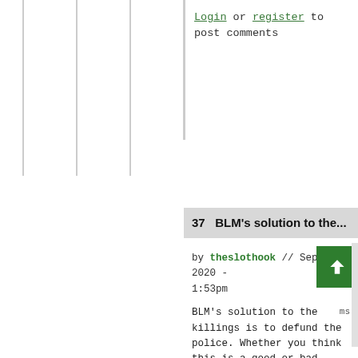Login or register to post comments
37   BLM's solution to the...
by theslothook // Sep 01, 2020 - 1:53pm
BLM's solution to the killings is to defund the police. Whether you think this is a good or bad thing, its a blunt instrument, not exactly laced with nuance.
Here's the overall crux of my argument. The tall task has to be about identifying the causes behind